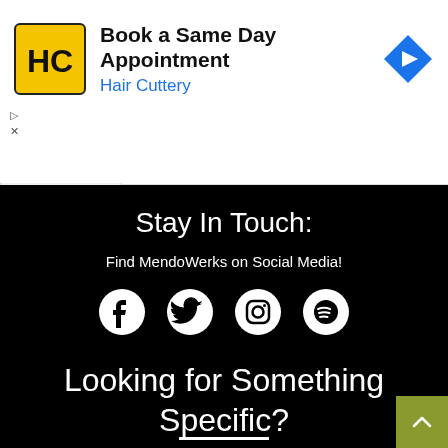[Figure (infographic): Hair Cuttery advertisement banner with yellow HC logo, text 'Book a Same Day Appointment' and 'Hair Cuttery' in blue, and a blue navigation arrow icon on the right]
Stay In Touch:
Find MendoWerks on Social Media!
[Figure (infographic): Four social media icons in white circles on black background: Facebook, Twitter, Instagram, Spotify]
Looking for Something Specific?